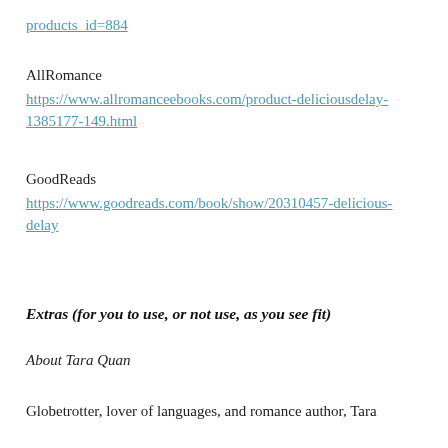products_id=884
AllRomance
https://www.allromanceebooks.com/product-deliciousdelay-1385177-149.html
GoodReads
https://www.goodreads.com/book/show/20310457-delicious-delay
Extras (for you to use, or not use, as you see fit)
About Tara Quan
Globetrotter, lover of languages, and romance author, Tara